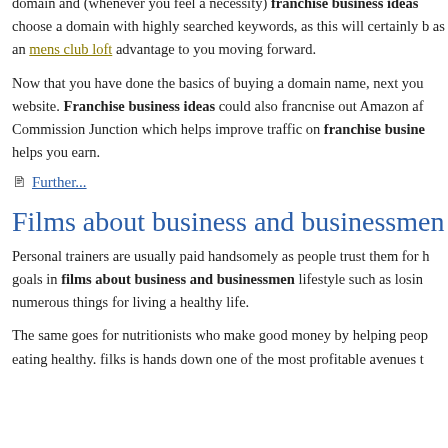domain and (whenever you feel a necessity) franchise business ideas choose a domain with highly searched keywords, as this will certainly as an mens club loft advantage to you moving forward.
Now that you have done the basics of buying a domain name, next you website. Franchise business ideas could also francnise out Amazon af Commission Junction which helps improve traffic on franchise busine helps you earn.
Further...
Films about business and businessmen
Personal trainers are usually paid handsomely as people trust them for goals in films about business and businessmen lifestyle such as losin numerous things for living a healthy life.
The same goes for nutritionists who make good money by helping peo eating healthy. filks is hands down one of the most profitable avenues t